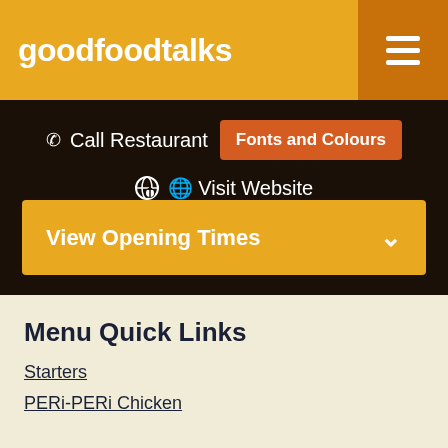goodfoodtalks
Call Restaurant
Fonts and Colours
Visit Website
View Opening Times
Menu Quick Links
Starters
PERi-PERi Chicken